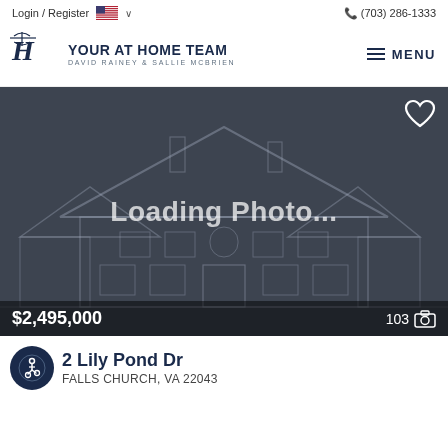Login / Register   (703) 286-1333
[Figure (logo): Your At Home Team logo with stylized monogram and text 'YOUR AT HOME TEAM / DAVID RAINEY & SALLIE MCBRIEN']
[Figure (screenshot): Real estate listing photo placeholder showing a house outline on dark background with 'Loading Photo...' text, price $2,495,000, and 103 photos indicator]
2 Lily Pond Dr
FALLS CHURCH, VA 22043